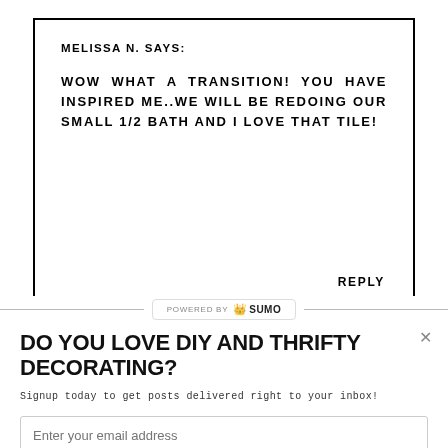MELISSA N. SAYS:
WOW WHAT A TRANSITION! YOU HAVE INSPIRED ME..WE WILL BE REDOING OUR SMALL 1/2 BATH AND I LOVE THAT TILE!
REPLY
POWERED BY SUMO
DO YOU LOVE DIY AND THRIFTY DECORATING?
Signup today to get posts delivered right to your inbox!
Enter your email address
Subscribe Now